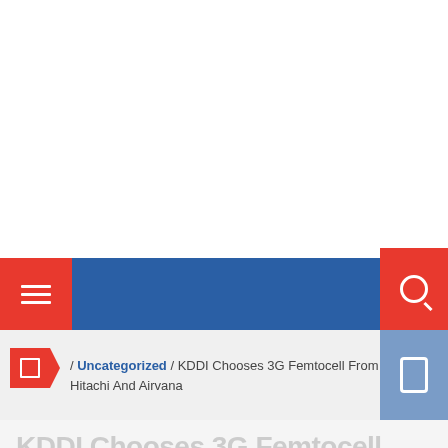Navigation bar with hamburger menu and search button
/ Uncategorized / KDDI Chooses 3G Femtocell From Hitachi And Airvana
KDDI Chooses 3G Femtocell From Hitachi And Airvana